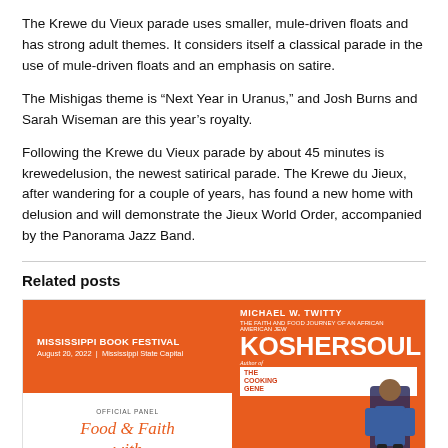The Krewe du Vieux parade uses smaller, mule-driven floats and has strong adult themes. It considers itself a classical parade in the use of mule-driven floats and an emphasis on satire.
The Mishigas theme is “Next Year in Uranus,” and Josh Burns and Sarah Wiseman are this year’s royalty.
Following the Krewe du Vieux parade by about 45 minutes is krewedelusion, the newest satirical parade. The Krewe du Jieux, after wandering for a couple of years, has found a new home with delusion and will demonstrate the Jieux World Order, accompanied by the Panorama Jazz Band.
Related posts
[Figure (other): Mississippi Book Festival promotional card showing an orange header with 'MISSISSIPPI BOOK FESTIVAL August 20, 2022 | Mississippi State Capital', white section with 'OFFICIAL PANEL' and 'Food & Faith with' text, and book cover for 'Koshersoul' by Michael W. Twitty on the right side with orange background and author photo.]